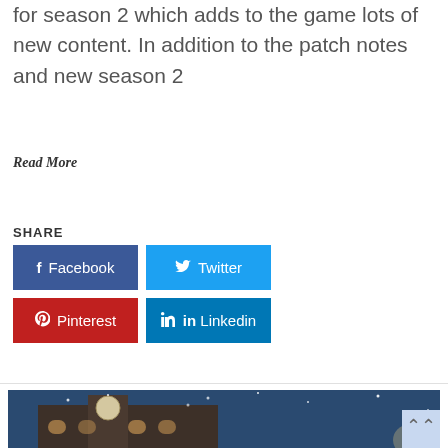for season 2 which adds to the game lots of new content. In addition to the patch notes and new season 2
Read More
SHARE
[Figure (infographic): Social share buttons: Facebook (dark blue), Twitter (light blue), Pinterest (red), Linkedin (teal blue)]
[Figure (photo): Winter snowy scene of a stone building with a clock tower at night, with snow falling and warm lights inside]